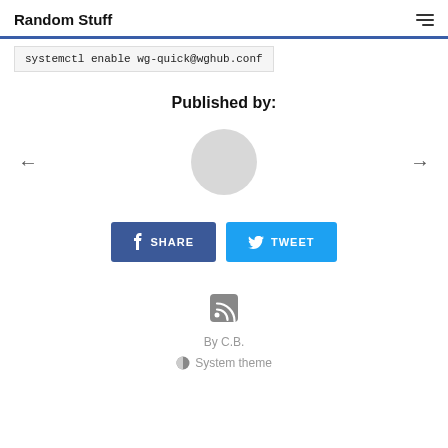Random Stuff
systemctl enable wg-quick@wghub.conf
Published by:
[Figure (illustration): Gray circular avatar placeholder with left and right navigation arrows on either side]
[Figure (other): Two buttons: a dark blue SHARE button with Facebook f icon, and a light blue TWEET button with Twitter bird icon]
[Figure (other): RSS feed icon (gray square with radiating arcs)]
By C.B.
System theme